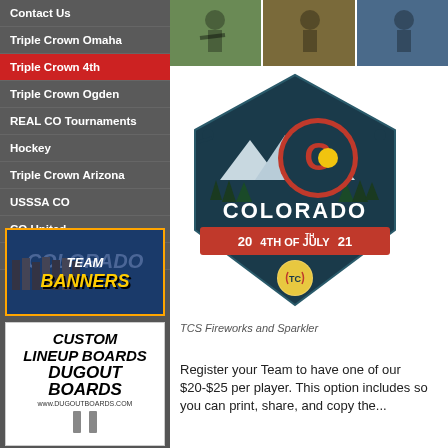Contact Us
Triple Crown Omaha
Triple Crown 4th
Triple Crown Ogden
REAL CO Tournaments
Hockey
Triple Crown Arizona
USSSA CO
CO United
Billings Showdown
[Figure (photo): Team Banners advertisement showing softball team photo with Team Banners logo]
[Figure (photo): Dugout Boards advertisement - Custom Lineup Boards]
[Figure (photo): Three sports action photos in a horizontal strip]
[Figure (logo): Colorado 4th of July 2021 Triple Crown Sports tournament logo with Colorado state imagery]
TCS Fireworks and Sparkler
Register your Team to have one of our $20-$25 per player. This option includes so you can print, share, and copy the...